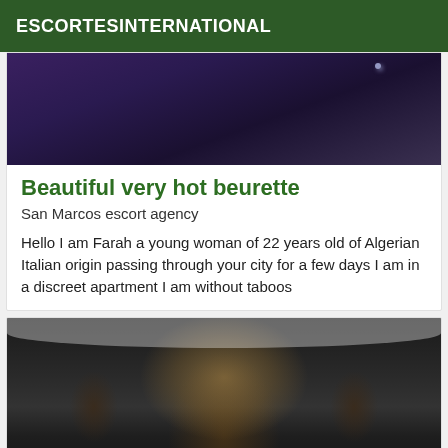ESCORTESINTERNATIONAL
[Figure (photo): Dark purple/blue toned photo, partial upper crop]
Beautiful very hot beurette
San Marcos escort agency
Hello I am Farah a young woman of 22 years old of Algerian Italian origin passing through your city for a few days I am in a discreet apartment I am without taboos
[Figure (photo): Woman with long wavy blonde/ombre hair seen from behind, wearing black lace top, sitting on bed]